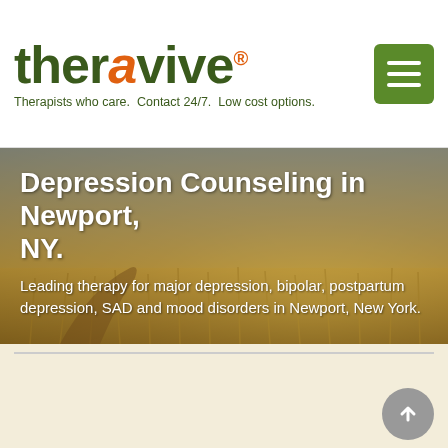theravive® — Therapists who care. Contact 24/7. Low cost options.
Depression Counseling in Newport, NY.
Leading therapy for major depression, bipolar, postpartum depression, SAD and mood disorders in Newport, New York.
[Figure (photo): Portrait photo of a middle-aged male therapist wearing glasses and a tie, with green foliage background]